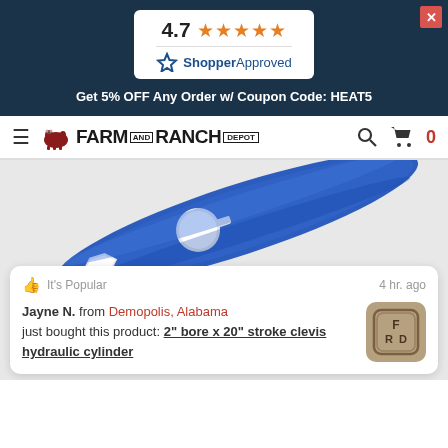[Figure (infographic): Shopper Approved rating card showing 4.7 stars out of 5 with orange star icons and blue Shopper Approved logo]
Get 5% OFF Any Order w/ Coupon Code: HEAT5
[Figure (logo): Farm and Ranch Depot logo with red cow icon, navigation hamburger menu, search icon, and cart icon showing 0 items]
[Figure (photo): Blue metal clevis hydraulic cylinder tool/wrench component on white background]
It's Popular   4 hr. ago
Jayne N. from Demopolis, Alabama just bought this product: 2" bore x 20" stroke clevis hydraulic cylinder